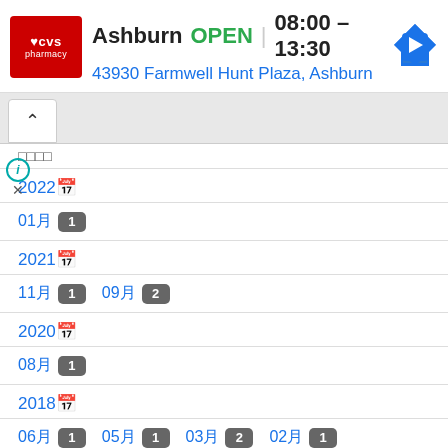[Figure (screenshot): CVS Pharmacy banner showing location: Ashburn, OPEN, 08:00 - 13:30, address 43930 Farmwell Hunt Plaza, Ashburn, with CVS logo and navigation arrow]
보관함
2022년
01월 1
2021년
11월 1   09월 2
2020년
08월 1
2018년
06월 1   05월 1   03월 2   02월 1